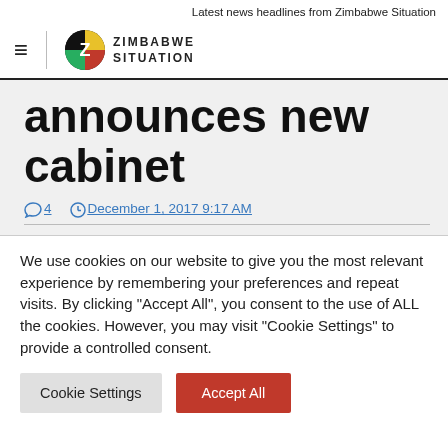Latest news headlines from Zimbabwe Situation
[Figure (logo): Zimbabwe Situation logo with hamburger menu icon, vertical divider, circular Z logo in red/green/black/yellow, and text ZIMBABWE SITUATION]
announces new cabinet
4   December 1, 2017 9:17 AM
We use cookies on our website to give you the most relevant experience by remembering your preferences and repeat visits. By clicking "Accept All", you consent to the use of ALL the cookies. However, you may visit "Cookie Settings" to provide a controlled consent.
Cookie Settings   Accept All